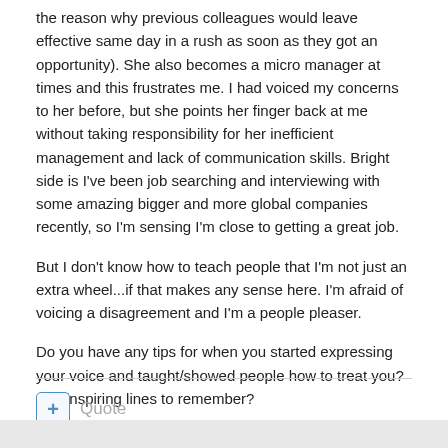the reason why previous colleagues would leave effective same day in a rush as soon as they got an opportunity). She also becomes a micro manager at times and this frustrates me. I had voiced my concerns to her before, but she points her finger back at me without taking responsibility for her inefficient management and lack of communication skills. Bright side is I've been job searching and interviewing with some amazing bigger and more global companies recently, so I'm sensing I'm close to getting a great job.
But I don't know how to teach people that I'm not just an extra wheel...if that makes any sense here. I'm afraid of voicing a disagreement and I'm a people pleaser.
Do you have any tips for when you started expressing your voice and taught/showed people how to treat you? Any inspiring lines to remember?